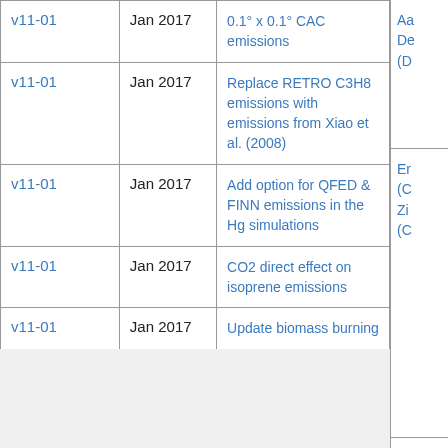| Version | Date | Description | Reference |
| --- | --- | --- | --- |
| v11-01 | Jan 2017 | 0.1° x 0.1° CAC emissions | Aa De (D... |
| v11-01 | Jan 2017 | Replace RETRO C3H8 emissions with emissions from Xiao et al. (2008) | Er (C Zi (C... |
| v11-01 | Jan 2017 | Add option for QFED & FINN emissions in the Hg simulations | Je (V... |
| v11-01 | Jan 2017 | CO2 direct effect on isoprene emissions | Ar (C... |
| v11-01 | Jan 2017 | Update biomass burning | Pr Ka... |